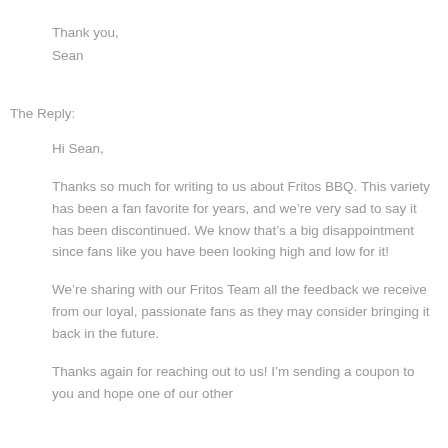Thank you,
Sean
The Reply:
Hi Sean,

Thanks so much for writing to us about Fritos BBQ. This variety has been a fan favorite for years, and we’re very sad to say it has been discontinued. We know that’s a big disappointment since fans like you have been looking high and low for it!

We’re sharing with our Fritos Team all the feedback we receive from our loyal, passionate fans as they may consider bringing it back in the future.

Thanks again for reaching out to us! I’m sending a coupon to you and hope one of our other